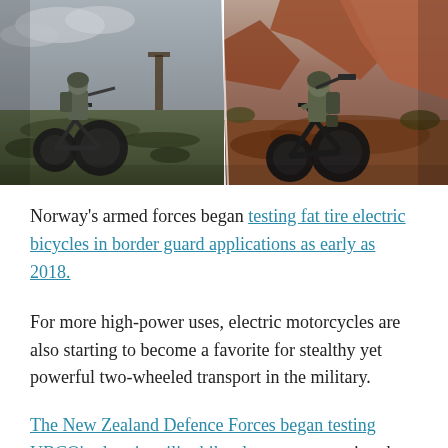[Figure (photo): Two military personnel on electric bicycles/motorcycles in field settings. Left side shows a soldier on a dark fat-tire electric bike in a rocky/grassy terrain with overcast sky. Right side shows a soldier on a black electric mountain bike on red rock terrain.]
Norway's armed forces began testing fat tire electric bicycles in border guard applications as early as 2018.
For more high-power uses, electric motorcycles are also starting to become a favorite for stealthy yet powerful two-wheeled transport in the military.
The New Zealand Defence Forces began testing UBCO's electric utility bikes last summer, using the motorcycles for patrol roles.